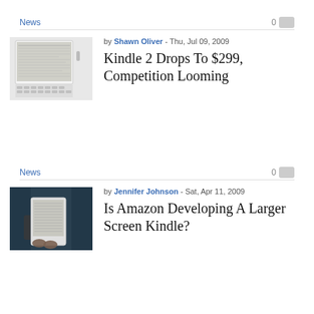News
0
by Shawn Oliver - Thu, Jul 09, 2009
[Figure (photo): Amazon Kindle 2 e-reader device, front view showing screen with text and keyboard]
Kindle 2 Drops To $299, Competition Looming
News
0
by Jennifer Johnson - Sat, Apr 11, 2009
[Figure (photo): Person holding a Kindle e-reader device with one hand against a blurred background]
Is Amazon Developing A Larger Screen Kindle?